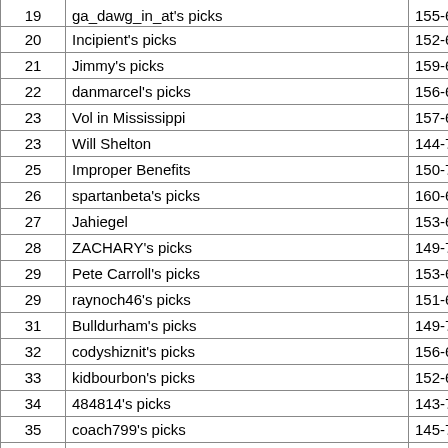| Rank | Name | Score |
| --- | --- | --- |
| 19 | ga_dawg_in_at's picks | 155-65 1 |
| 20 | Incipient's picks | 152-68 1 |
| 21 | Jimmy's picks | 159-61 1 |
| 22 | danmarcel's picks | 156-64 1 |
| 23 | Vol in Mississippi | 157-63 1 |
| 23 | Will Shelton | 144-76 1 |
| 25 | Improper Benefits | 150-70 1 |
| 26 | spartanbeta's picks | 160-60 1 |
| 27 | Jahiegel | 153-67 1 |
| 28 | ZACHARY's picks | 149-71 1 |
| 29 | Pete Carroll's picks | 153-67 1 |
| 29 | raynoch46's picks | 151-69 1 |
| 31 | Bulldurham's picks | 149-71 1 |
| 32 | codyshiznit's picks | 156-64 1 |
| 33 | kidbourbon's picks | 152-68 1 |
| 34 | 484814's picks | 143-77 1 |
| 35 | coach799's picks | 145-75 1 |
| 36 | No Sir Rec | 154-66 1 |